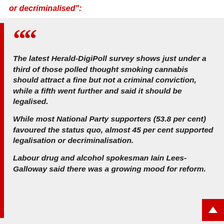or decriminalised":
The latest Herald-DigiPoll survey shows just under a third of those polled thought smoking cannabis should attract a fine but not a criminal conviction, while a fifth went further and said it should be legalised.

While most National Party supporters (53.8 per cent) favoured the status quo, almost 45 per cent supported legalisation or decriminalisation.

Labour drug and alcohol spokesman Iain Lees-Galloway said there was a growing mood for reform.